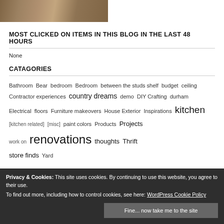[Figure (photo): Partial landscape/outdoor photo strip at top of page]
MOST CLICKED ON ITEMS IN THIS BLOG IN THE LAST 48 HOURS
None
CATAGORIES
Bathroom  Bear  bedroom  Bedroom  between the studs shelf  budget  ceiling  Contractor experiences  country dreams  demo  DIY Crafting  durham  Electrical  floors  Furniture makeovers  House Exterior  Inspirations  kitchen  [kitchen related]  [misc]  paint colors  Products  Projects  [work in progress]  renovations  thoughts  Thrift store finds  Yard
Privacy & Cookies: This site uses cookies. By continuing to use this website, you agree to their use.
To find out more, including how to control cookies, see here: WordPress Cookie Policy
Fine... now take me to the site